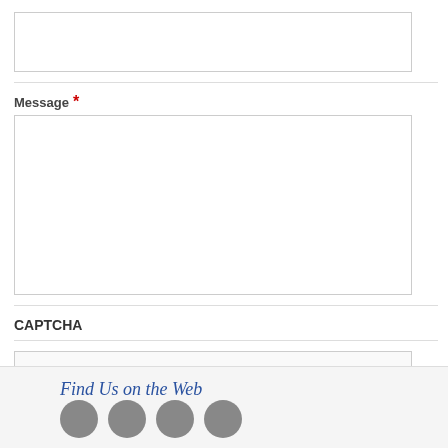Message *
CAPTCHA
Submit
Find Us on the Web